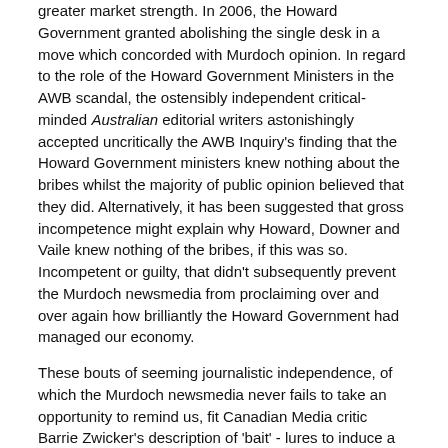greater market strength. In 2006, the Howard Government granted abolishing the single desk in a move which concorded with Murdoch opinion. In regard to the role of the Howard Government Ministers in the AWB scandal, the ostensibly independent critical-minded Australian editorial writers astonishingly accepted uncritically the AWB Inquiry's finding that the Howard Government ministers knew nothing about the bribes whilst the majority of public opinion believed that they did. Alternatively, it has been suggested that gross incompetence might explain why Howard, Downer and Vaile knew nothing of the bribes, if this was so. Incompetent or guilty, that didn't subsequently prevent the Murdoch newsmedia from proclaiming over and over again how brilliantly the Howard Government had managed our economy.
These bouts of seeming journalistic independence, of which the Murdoch newsmedia never fails to take an opportunity to remind us, fit Canadian Media critic Barrie Zwicker's description of 'bait' - lures to induce a somewhat critical-minded public into accepting the 'switch' to other ideas which probably better serve the interests of the Murdoch empire and those of wealthy fellow members of the elite.
It didn't take very long after the Murdoch newsmedia momentarily hopped on board the Rudd bandwagon, for it to begin to campaign against the Rudd Government. Only months into its term it found excuses to depict the Government as crisis-ridden, although turmoil was world-wide on